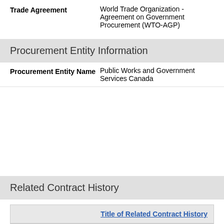| Trade Agreement | World Trade Organization - Agreement on Government Procurement (WTO-AGP) |
Procurement Entity Information
| Procurement Entity Name | Public Works and Government Services Canada |
Related Contract History
| Title of Related Contract History |
| --- |
| TEAM A HUNDRED ANSWERS - MNR LLP AND NORTAK SOFT... |